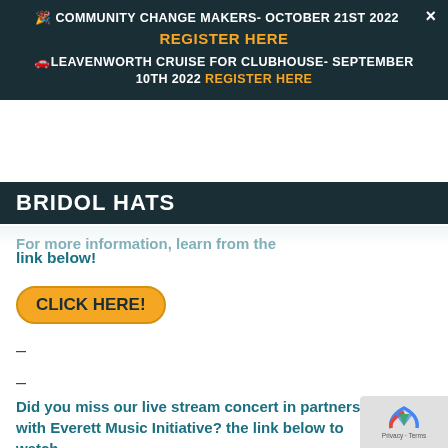🎉 COMMUNITY CHANGE MAKERS- OCTOBER 21ST 2022 REGISTER HERE 🚗LEAVENWORTH CRUISE FOR CLUBHOUSE- SEPTEMBER 10TH 2022 REGISTER HERE ×
BRIDOL HATS
For more information, learn from the link below!
CLICK HERE!
–
–
Did you miss our live stream concert in partnership with Everett Music Initiative? the link below to watch.